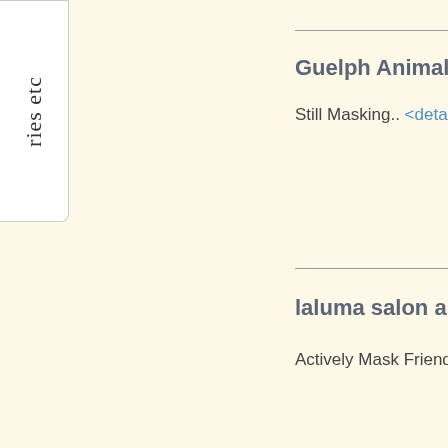ries etc
Guelph Animal Ho
Still Masking.. <details>
laluma salon and a
Actively Mask Friendly.. <d